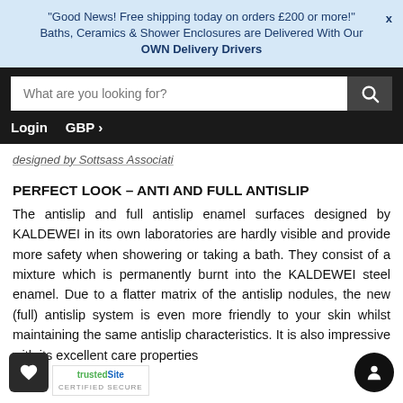"Good News! Free shipping today on orders £200 or more!" X
Baths, Ceramics & Shower Enclosures are Delivered With Our OWN Delivery Drivers
designed by Sottsass Associati
PERFECT LOOK – ANTI AND FULL ANTISLIP
The antislip and full antislip enamel surfaces designed by KALDEWEI in its own laboratories are hardly visible and provide more safety when showering or taking a bath. They consist of a mixture which is permanently burnt into the KALDEWEI steel enamel. Due to a flatter matrix of the antislip nodules, the new (full) antislip system is even more friendly to your skin whilst maintaining the same antislip characteristics. It is also impressive with its excellent care properties